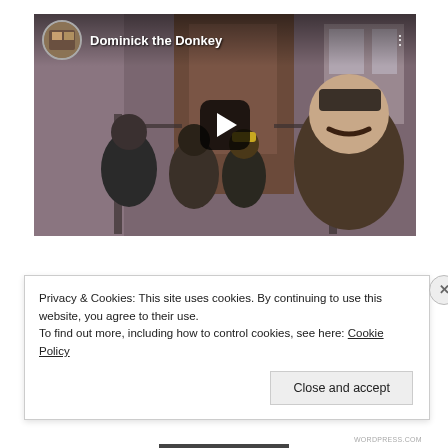[Figure (screenshot): YouTube video thumbnail showing a group of people on brownstone steps, with 'Dominick the Donkey' as the video title. A play button is overlaid in the center. A circular thumbnail icon and three-dot menu appear in the top bar.]
Privacy & Cookies: This site uses cookies. By continuing to use this website, you agree to their use.
To find out more, including how to control cookies, see here: Cookie Policy
Close and accept